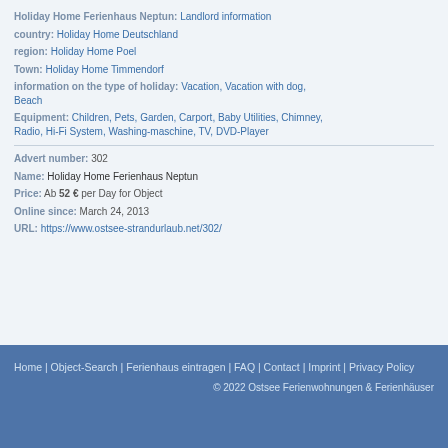Holiday Home Ferienhaus Neptun:  Landlord information
country:  Holiday Home Deutschland
region:  Holiday Home Poel
Town:  Holiday Home Timmendorf
information on the type of holiday:  Vacation, Vacation with dog, Beach
Equipment:  Children, Pets, Garden, Carport, Baby Utilities, Chimney, Radio, Hi-Fi System, Washing-maschine, TV, DVD-Player
Advert number:  302
Name:  Holiday Home Ferienhaus Neptun
Price:  Ab 52 € per Day for Object
Online since:  March 24, 2013
URL:  https://www.ostsee-strandurlaub.net/302/
Home | Object-Search | Ferienhaus eintragen | FAQ | Contact | Imprint | Privacy Policy
© 2022 Ostsee Ferienwohnungen & Ferienhäuser